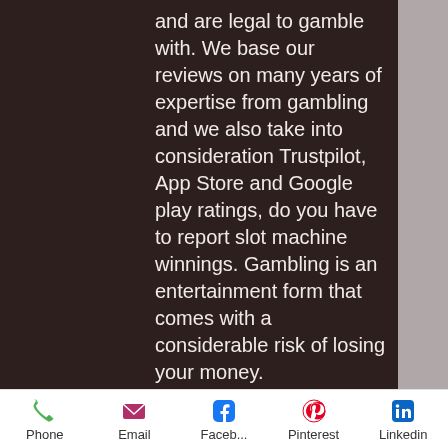and are legal to gamble with. We base our reviews on many years of expertise from gambling and we also take into consideration Trustpilot, App Store and Google play ratings, do you have to report slot machine winnings. Gambling is an entertainment form that comes with a considerable risk of losing your money.
Today's Results:
Space Battle - 631.6 ltc
The Slotfather - 595.6 ltc
Frogged - 598.1 eth
Flux - 78.1 usdt
Journey To The West - 637.9 ltc
Take 5 - 608.2 ltc
The Wild Chase - 599 ltc
White King - 47.3 usdt
Creeper Pasteur - 13.4 btc
Phone  Email  Faceb...  Pinterest  Linkedin